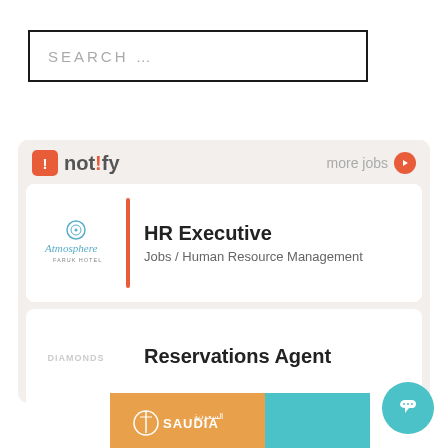[Figure (screenshot): Search box with placeholder text SEARCH ...]
[Figure (screenshot): Notify job board widget showing HR Executive and Reservations Agent listings]
[Figure (logo): Saudia airline logo banner at bottom]